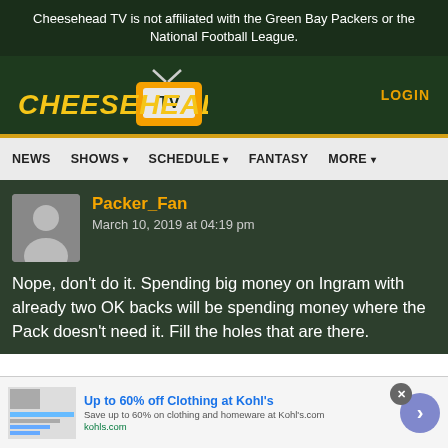Cheesehead TV is not affiliated with the Green Bay Packers or the National Football League.
[Figure (logo): Cheesehead TV logo with yellow italic text CHEESEHEAD and orange TV box with antenna]
LOGIN
NEWS   SHOWS ▾   SCHEDULE ▾   FANTASY   MORE ▾
Packer_Fan
March 10, 2019 at 04:19 pm
Nope, don't do it. Spending big money on Ingram with already two OK backs will be spending money where the Pack doesn't need it. Fill the holes that are there.
Up to 60% off Clothing at Kohl's
Save up to 60% on clothing and homeware at Kohl's.com
kohls.com